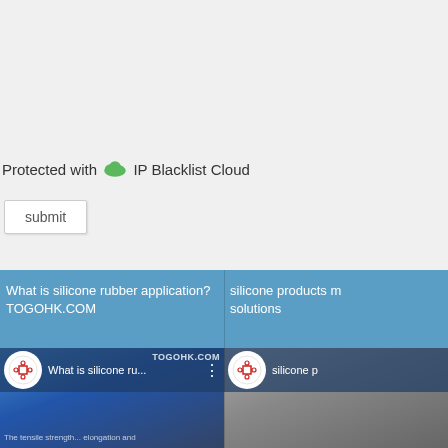submit
Protected with IP Blacklist Cloud
[Figure (screenshot): Blue section with two video cards for silicone rubber application videos from TOGOHK.COM]
What is silicone rubber application? TOGOHK.COM
silicone products m... solutions
What is silicone ru...
silicone p